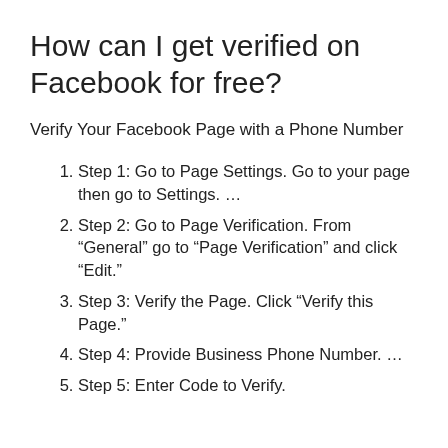How can I get verified on Facebook for free?
Verify Your Facebook Page with a Phone Number
Step 1: Go to Page Settings. Go to your page then go to Settings. …
Step 2: Go to Page Verification. From “General” go to “Page Verification” and click “Edit.”
Step 3: Verify the Page. Click “Verify this Page.”
Step 4: Provide Business Phone Number. …
Step 5: Enter Code to Verify.